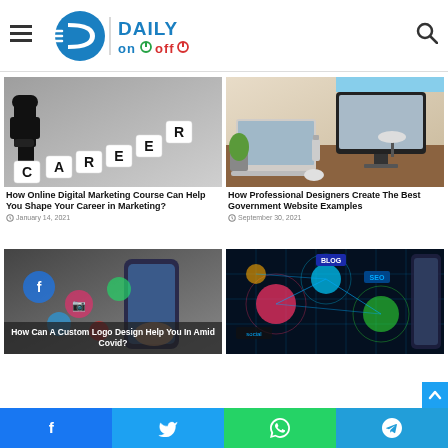Daily On Off — website header with logo, hamburger menu, and search icon
[Figure (photo): Keyboard letter tiles spelling CAREER with a businessperson figure]
How Online Digital Marketing Course Can Help You Shape Your Career in Marketing?
January 14, 2021
[Figure (photo): Desktop computer and laptop on a desk with a lamp and plant]
How Professional Designers Create The Best Government Website Examples
September 30, 2021
[Figure (photo): Person using phone with social media icons, overlay text: How Can A Custom Logo Design Help You In Amid Covid?]
[Figure (photo): SEO/digital marketing network graphic with glowing circles and text: BLOG, SEO, Social]
Social share bar: Facebook, Twitter, WhatsApp, Telegram